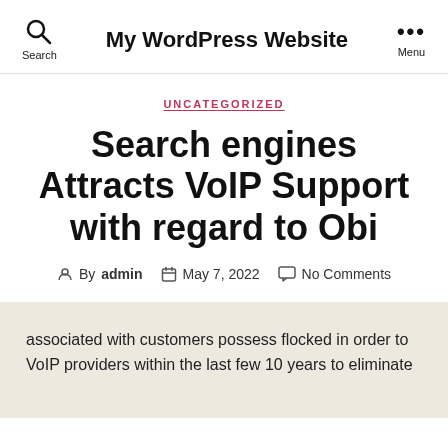My WordPress Website
UNCATEGORIZED
Search engines Attracts VoIP Support with regard to Obi
By admin  May 7, 2022  No Comments
associated with customers possess flocked in order to VoIP providers within the last few 10 years to eliminate